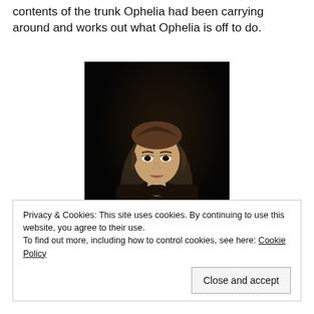contents of the trunk Ophelia had been carrying around and works out what Ophelia is off to do.
[Figure (photo): A woman with short brown hair wearing a black lace dress, photographed against a dark background, appearing to be on stage.]
Privacy & Cookies: This site uses cookies. By continuing to use this website, you agree to their use.
To find out more, including how to control cookies, see here: Cookie Policy
Close and accept